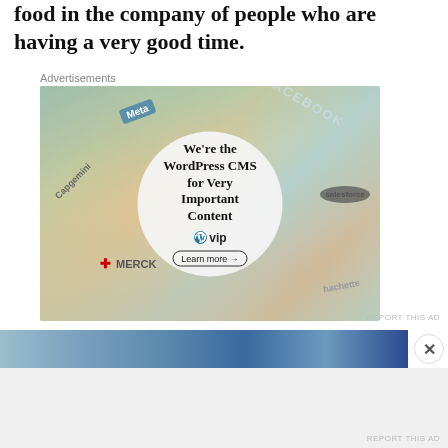food in the company of people who are having a very good time.
[Figure (other): WordPress VIP advertisement banner showing various brand logos (Meta, Facebook, Capgemini, Merck, Salesforce, Hachette) arranged around a central circle containing text: 'We're the WordPress CMS for Very Important Content' with WordPress VIP logo and 'Learn more' button]
Advertisements
REPORT THIS AD
[Figure (photo): Second advertisement section with a dark blue image strip at top and close button (X), showing 'Advertisements' label]
Advertisements
REPORT THIS AD